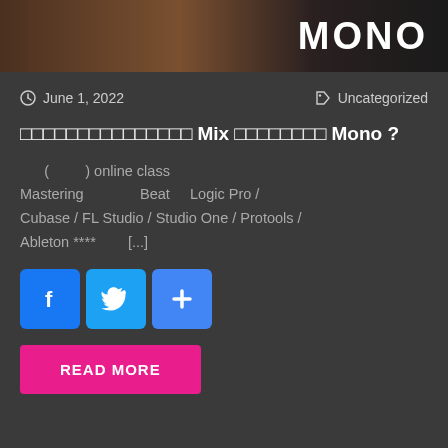[Figure (photo): Top banner image with dark warm-toned background and bold white text 'MONO' on the right side]
June 1, 2022    Uncategorized
□□□□□□□□□□□□□□□ Mix □□□□□□□□ Mono ?
( □□□□□□ ) online class Mastering □□□□□□□□□□□□ Beat □□□ Logic Pro / Cubase / FL Studio / Studio One / Protools / Ableton **** □□□□□□ [...]
[Figure (infographic): Social sharing buttons: Facebook (blue with f), Twitter (light blue with bird), and a blue plus (+) button]
READ MORE